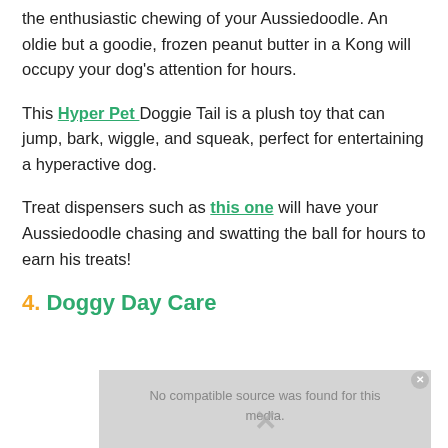the enthusiastic chewing of your Aussiedoodle. An oldie but a goodie, frozen peanut butter in a Kong will occupy your dog's attention for hours.
This Hyper Pet Doggie Tail is a plush toy that can jump, bark, wiggle, and squeak, perfect for entertaining a hyperactive dog.
Treat dispensers such as this one will have your Aussiedoodle chasing and swatting the ball for hours to earn his treats!
4. Doggy Day Care
[Figure (screenshot): Video placeholder showing 'No compatible source was found for this media.' with a close button and an X icon.]